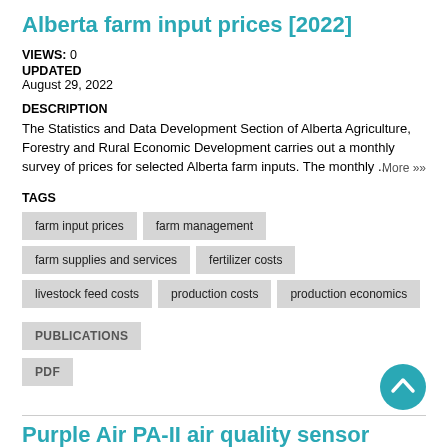Alberta farm input prices [2022]
VIEWS: 0
UPDATED
August 29, 2022
DESCRIPTION
The Statistics and Data Development Section of Alberta Agriculture, Forestry and Rural Economic Development carries out a monthly survey of prices for selected Alberta farm inputs. The monthly ... More »»
TAGS
farm input prices
farm management
farm supplies and services
fertilizer costs
livestock feed costs
production costs
production economics
PUBLICATIONS
PDF
Purple Air PA-II air quality sensor